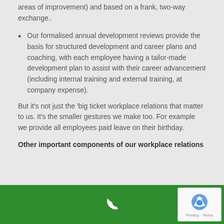areas of improvement) and based on a frank, two-way exchange..
Our formalised annual development reviews provide the basis for structured development and career plans and coaching, with each employee having a tailor-made development plan to assist with their career advancement (including internal training and external training, at company expense).
But it's not just the 'big ticket workplace relations that matter to us. It's the smaller gestures we make too. For example we provide all employees paid leave on their birthday.
Other important components of our workplace relations
...
[Figure (other): Green footer bar with white phone icon and reCAPTCHA widget]